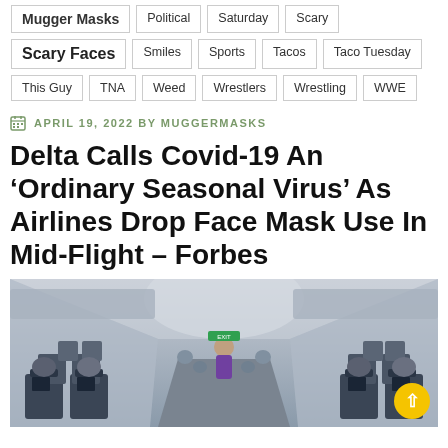Mugger Masks | Political | Saturday | Scary
Scary Faces | Smiles | Sports | Tacos | Taco Tuesday
This Guy | TNA | Weed | Wrestlers | Wrestling | WWE
APRIL 19, 2022 BY MUGGERMASKS
Delta Calls Covid-19 An ‘Ordinary Seasonal Virus’ As Airlines Drop Face Mask Use In Mid-Flight – Forbes
[Figure (photo): Interior view of a full airplane cabin with passengers seated and a flight attendant standing in the aisle near the front, overhead compartments visible, perspective shot down the center aisle.]